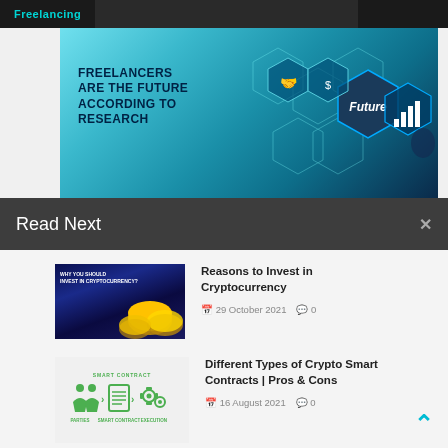Freelancing
[Figure (photo): Banner image with text 'FREELANCERS ARE THE FUTURE ACCORDING TO RESEARCH' on a teal/blue background with hexagon network graphics and a hand pointing to a glowing 'Future' hexagon with a bar chart icon.]
Read Next
[Figure (photo): Thumbnail image for article 'Reasons to Invest in Cryptocurrency' showing gold coins on a dark blue/space background with white text overlay.]
Reasons to Invest in Cryptocurrency
29 October 2021  0
[Figure (illustration): Smart contract illustration showing PARTIES > SMART CONTRACT > EXECUTION icons in green on white background, labeled 'SMART CONTRACT' at top.]
Different Types of Crypto Smart Contracts | Pros & Cons
16 August 2021  0